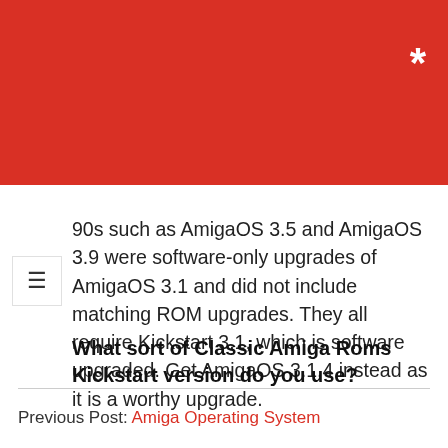* (asterisk logo on red header bar)
90s such as AmigaOS 3.5 and AmigaOS 3.9 were software-only upgrades of AmigaOS 3.1 and did not include matching ROM upgrades. They all require Kickstart 3.1, which is software upgraded. Get AmigaOS 3.1.4 instead as it is a worthy upgrade.
What sort of Classic Amiga Roms Kickstart version do you use?
Previous Post: Amiga Operating System